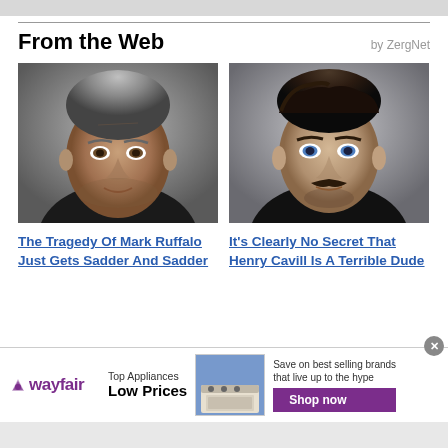From the Web
by ZergNet
[Figure (photo): Headshot of Mark Ruffalo, middle-aged man with gray hair]
The Tragedy Of Mark Ruffalo Just Gets Sadder And Sadder
[Figure (photo): Headshot of Henry Cavill, dark-haired man with mustache]
It's Clearly No Secret That Henry Cavill Is A Terrible Dude
[Figure (infographic): Wayfair advertisement: Top Appliances Low Prices, Shop now button, image of appliance]